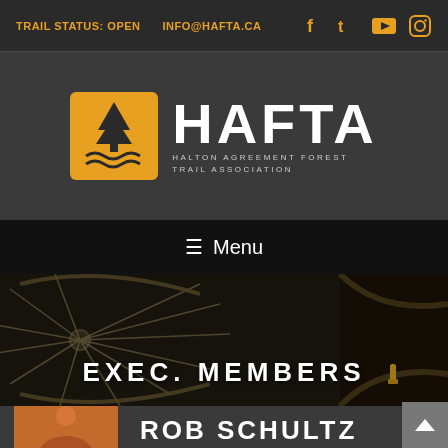TRAIL STATUS: OPEN   INFO@HAFTA.CA
[Figure (logo): HAFTA - Halton Agreement Forest Trail Association logo with orange pine tree icon]
Menu
[Figure (photo): Close-up of a mountain bike wheel/spokes in dark lighting]
EXEC. MEMBERS
[Figure (photo): Partial thumbnail photo of a person]
ROB SCHULTZ